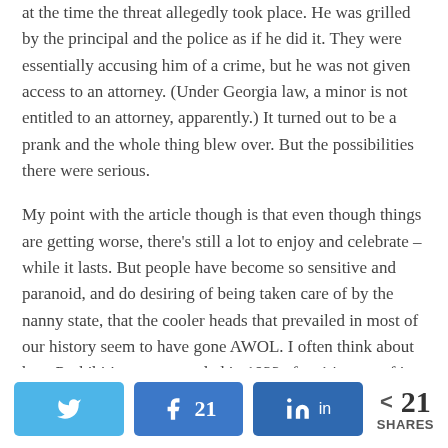at the time the threat allegedly took place. He was grilled by the principal and the police as if he did it. They were essentially accusing him of a crime, but he was not given access to an attorney. (Under Georgia law, a minor is not entitled to an attorney, apparently.) It turned out to be a prank and the whole thing blew over. But the possibilities there were serious.
My point with the article though is that even though things are getting worse, there’s still a lot to enjoy and celebrate – while it lasts. But people have become so sensitive and paranoid, and do desiring of being taken care of by the nanny state, that the cooler heads that prevailed in most of our history seem to have gone AWOL. I often think about how Prohibition was repealed in 1933 after 14 years of its existence proved it was a failure. We don’t repeal anything any more, we just add
[Figure (infographic): Social share bar with Twitter button, Facebook button with count 21, LinkedIn button, and share count showing 21 SHARES]